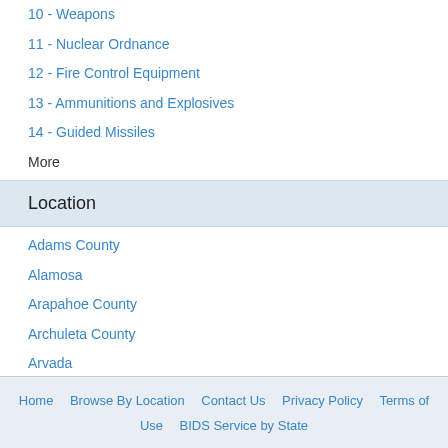10 - Weapons
11 - Nuclear Ordnance
12 - Fire Control Equipment
13 - Ammunitions and Explosives
14 - Guided Missiles
More
Location
Adams County
Alamosa
Arapahoe County
Archuleta County
Arvada
More
Home   Browse By Location   Contact Us   Privacy Policy   Terms of Use   BIDS Service by State